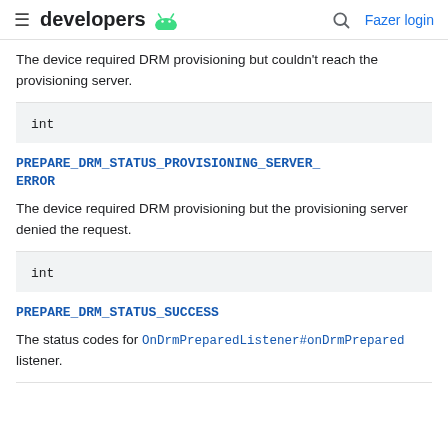developers [android logo] [search] Fazer login
The device required DRM provisioning but couldn't reach the provisioning server.
| int |
PREPARE_DRM_STATUS_PROVISIONING_SERVER_ERROR
The device required DRM provisioning but the provisioning server denied the request.
| int |
PREPARE_DRM_STATUS_SUCCESS
The status codes for OnDrmPreparedListener#onDrmPrepared listener.